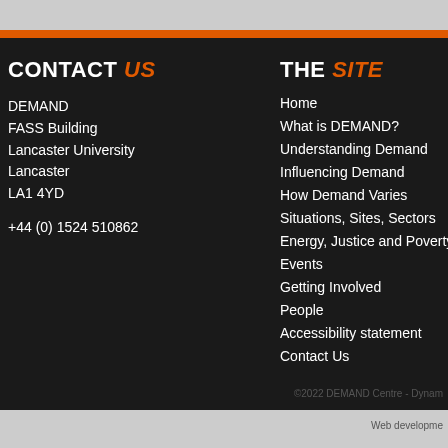CONTACT US
DEMAND
FASS Building
Lancaster University
Lancaster
LA1 4YD

+44 (0) 1524 510862
THE SITE
Home
What is DEMAND?
Understanding Demand
Influencing Demand
How Demand Varies
Situations, Sites, Sectors
Energy, Justice and Poverty
Events
Getting Involved
People
Accessibility statement
Contact Us
©2022 DEMAND Centre - Dynam
Web developme